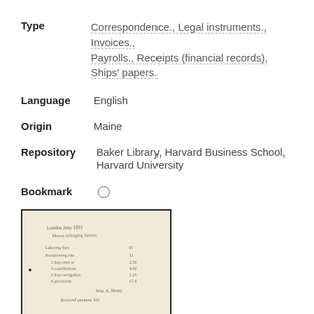Type   Correspondence., Legal instruments., Invoices., Payrolls., Receipts (financial records), Ships' papers.
Language   English
Origin   Maine
Repository   Baker Library, Harvard Business School, Harvard University
Bookmark   ○
[Figure (photo): Thumbnail image of a handwritten historical document on aged paper, showing cursive script entries resembling a ledger or list with numbers, bordered by a dark frame.]